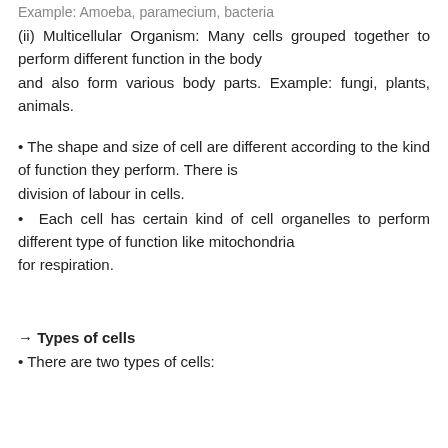Example: Amoeba, paramecium, bacteria
(ii) Multicellular Organism: Many cells grouped together to perform different function in the body and also form various body parts. Example: fungi, plants, animals.
• The shape and size of cell are different according to the kind of function they perform. There is division of labour in cells.
• Each cell has certain kind of cell organelles to perform different type of function like mitochondria for respiration.
→ Types of cells
• There are two types of cells: